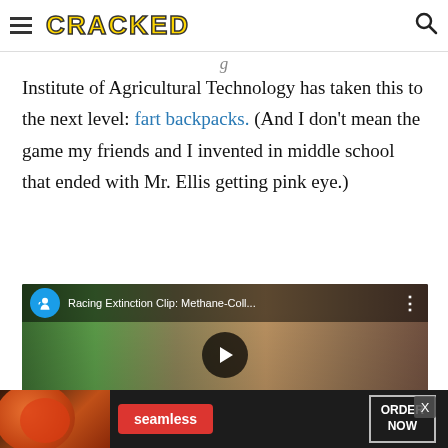CRACKED
Institute of Agricultural Technology has taken this to the next level: fart backpacks. (And I don't mean the game my friends and I invented in middle school that ended with Mr. Ellis getting pink eye.)
[Figure (screenshot): YouTube video embed showing 'Racing Extinction Clip: Methane-Coll...' with a play button overlay, showing people in a lab setting]
[Figure (screenshot): Bottom advertisement banner for Seamless food delivery with pizza image, red Seamless button, and ORDER NOW button]